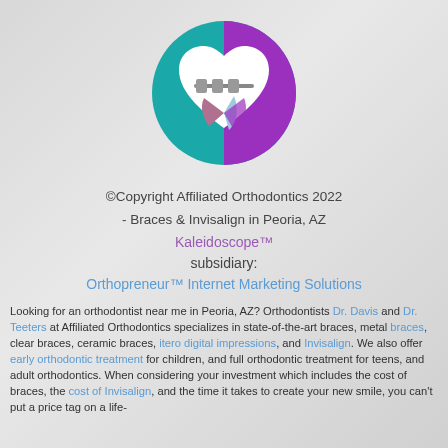[Figure (logo): Circular logo with teal and purple halves, white heart shape with dental braces graphic inside, and stylized tooth shapes below the heart]
©Copyright Affiliated Orthodontics 2022 - Braces & Invisalign in Peoria, AZ
Kaleidoscope™ subsidiary:
Orthopreneur™ Internet Marketing Solutions
Looking for an orthodontist near me in Peoria, AZ? Orthodontists Dr. Davis and Dr. Teeters at Affiliated Orthodontics specializes in state-of-the-art braces, metal braces, clear braces, ceramic braces, itero digital impressions, and Invisalign. We also offer early orthodontic treatment for children, and full orthodontic treatment for teens, and adult orthodontics. When considering your investment which includes the cost of braces, the cost of Invisalign, and the time it takes to create your new smile, you can't put a price tag on a life-